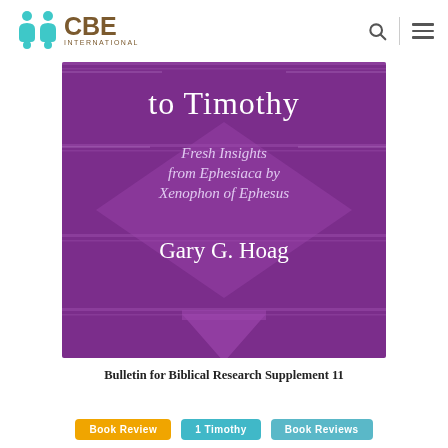CBE International
[Figure (illustration): Book cover on purple background. Title partial text 'to Timothy', subtitle 'Fresh Insights from Ephesiaca by Xenophon of Ephesus', author 'Gary G. Hoag'. Decorative geometric diamond pattern in lighter purple.]
Bulletin for Biblical Research Supplement 11
Book Review
1 Timothy
Book Reviews